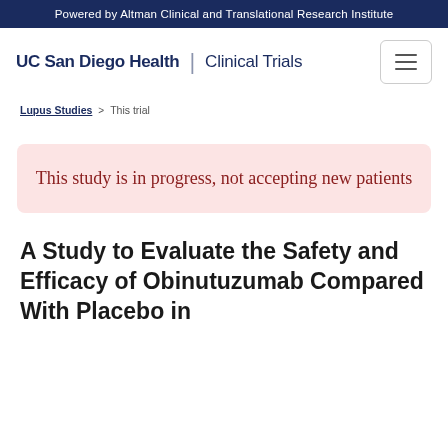Powered by Altman Clinical and Translational Research Institute
[Figure (logo): UC San Diego Health | Clinical Trials logo with hamburger menu button]
Lupus Studies > This trial
This study is in progress, not accepting new patients
A Study to Evaluate the Safety and Efficacy of Obinutuzumab Compared With Placebo in